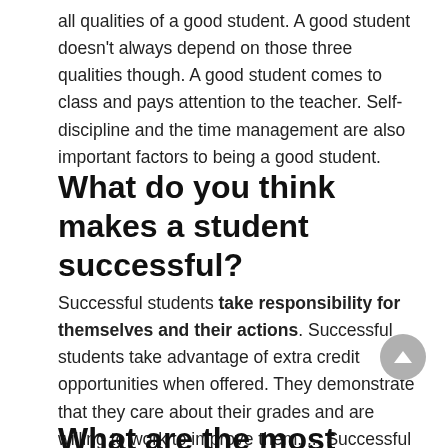all qualities of a good student. A good student doesn't always depend on those three qualities though. A good student comes to class and pays attention to the teacher. Self-discipline and the time management are also important factors to being a good student.
What do you think makes a student successful?
Successful students take responsibility for themselves and their actions. Successful students take advantage of extra credit opportunities when offered. They demonstrate that they care about their grades and are willing to work to improve them. ... Successful students are attentive in class.
What are the most important...